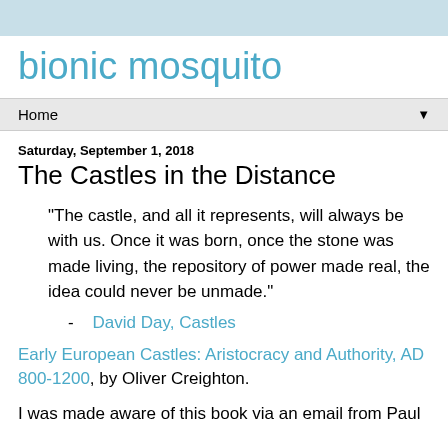bionic mosquito
Home ▼
Saturday, September 1, 2018
The Castles in the Distance
“The castle, and all it represents, will always be with us. Once it was born, once the stone was made living, the repository of power made real, the idea could never be unmade.”
- David Day, Castles
Early European Castles: Aristocracy and Authority, AD 800-1200, by Oliver Creighton.
I was made aware of this book via an email from Paul